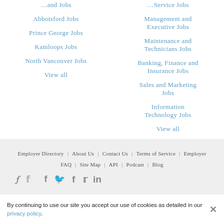Abbotsford Jobs
Prince George Jobs
Kamloops Jobs
North Vancouver Jobs
View all
Management and Executive Jobs
Maintenance and Technicians Jobs
Banking, Finance and Insurance Jobs
Sales and Marketing Jobs
Information Technology Jobs
View all
Employer Directory | About Us | Contact Us | Terms of Service | Employer FAQ | Site Map | API | Podcast | Blog
By continuing to use our site you accept our use of cookies as detailed in our privacy policy.